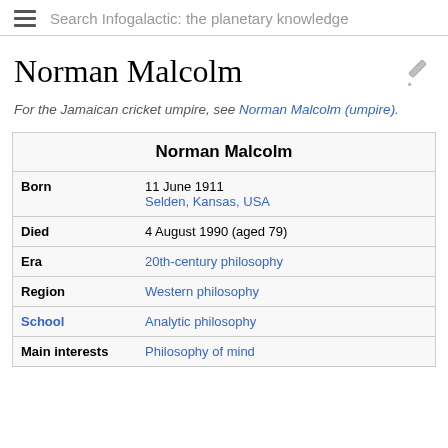Search Infogalactic: the planetary knowledge
Norman Malcolm
For the Jamaican cricket umpire, see Norman Malcolm (umpire).
|  | Norman Malcolm |
| --- | --- |
| Born | 11 June 1911
Selden, Kansas, USA |
| Died | 4 August 1990 (aged 79) |
| Era | 20th-century philosophy |
| Region | Western philosophy |
| School | Analytic philosophy |
| Main interests | Philosophy of mind |